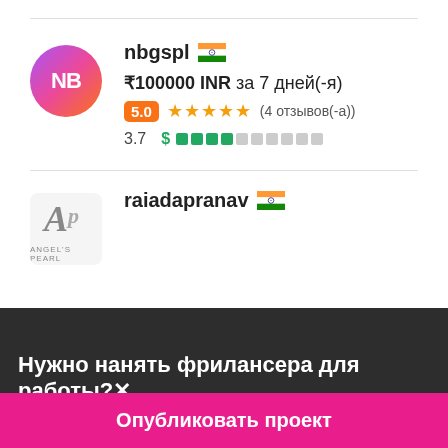nbgspl 🇮🇳
₹100000 INR за 7 дней(-я)
5.0 ★★★★★ (4 отзывов(-а))
3.7
raiadapranav 🇮🇳
Нужно нанять фрилансера для работы?✕
Опубликовать проект